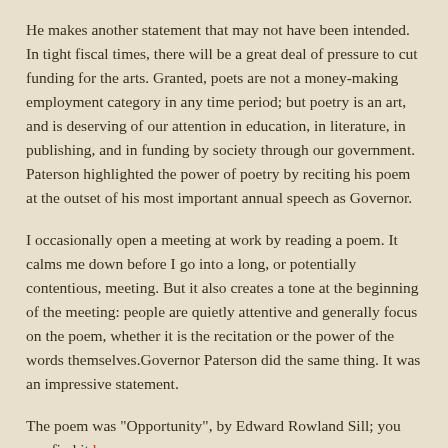He makes another statement that may not have been intended. In tight fiscal times, there will be a great deal of pressure to cut funding for the arts. Granted, poets are not a money-making employment category in any time period; but poetry is an art, and is deserving of our attention in education, in literature, in publishing, and in funding by society through our government. Paterson highlighted the power of poetry by reciting his poem at the outset of his most important annual speech as Governor.
I occasionally open a meeting at work by reading a poem. It calms me down before I go into a long, or potentially contentious, meeting. But it also creates a tone at the beginning of the meeting: people are quietly attentive and generally focus on the poem, whether it is the recitation or the power of the words themselves.Governor Paterson did the same thing. It was an impressive statement.
The poem was "Opportunity", by Edward Rowland Sill; you can find it here.